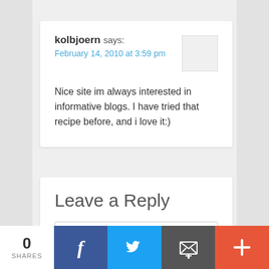kolbjoern says:
February 14, 2010 at 3:59 pm

Nice site im always interested in informative blogs. I have tried that recipe before, and i love it:)
Leave a Reply
Enter your comment here...
0 SHARES